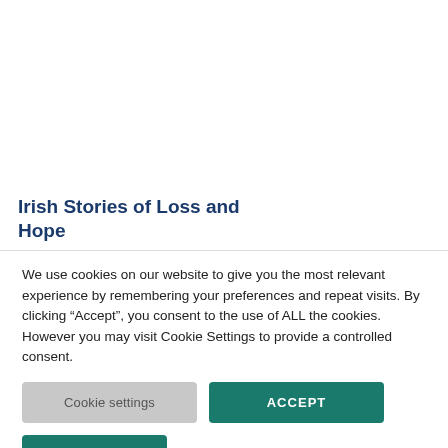Irish Stories of Loss and Hope
We use cookies on our website to give you the most relevant experience by remembering your preferences and repeat visits. By clicking “Accept”, you consent to the use of ALL the cookies. However you may visit Cookie Settings to provide a controlled consent.
Cookie settings
ACCEPT
REJECT